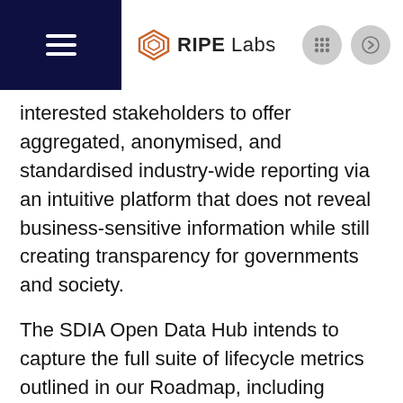RIPE Labs
interested stakeholders to offer aggregated, anonymised, and standardised industry-wide reporting via an intuitive platform that does not reveal business-sensitive information while still creating transparency for governments and society.
The SDIA Open Data Hub intends to capture the full suite of lifecycle metrics outlined in our Roadmap, including emissions, energy consumption, electronic waste, resource consumption, pollution, the embedded carbon of server hardware, and more to deliver, among other things, information. This will not only generate invaluable data such as server/data...